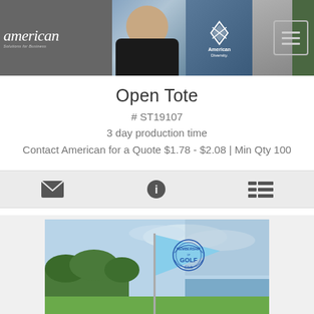American Solutions for Business | American Diversity - Open Tote product page header
Open Tote
# ST19107
3 day production time
Contact American for a Quote $1.78 - $2.08 | Min Qty 100
[Figure (screenshot): Action bar with three icons: envelope (email), info circle, and list (details)]
[Figure (photo): A blue golf flag with a Golf Club logo/emblem on it, standing on a golf course green with trees and water in the background]